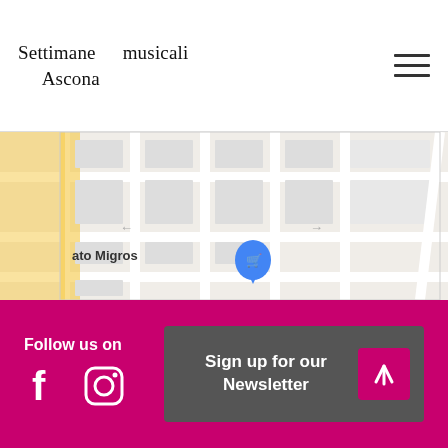Settimane musicali Ascona
[Figure (map): Google Maps screenshot showing a street map with a blue Migros shopping cart location pin. Partial text visible: 'ato Migros']
Follow us on
[Figure (logo): Facebook icon (white F on magenta background)]
[Figure (logo): Instagram icon (white camera outline on magenta background)]
Sign up for our Newsletter